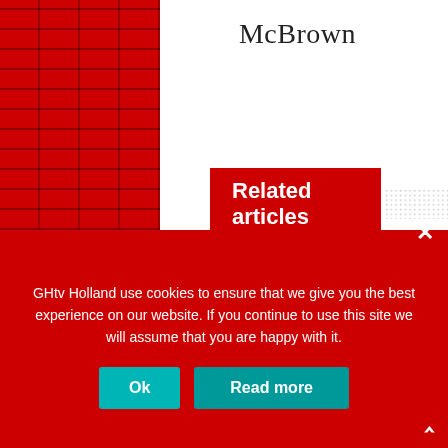McBrown
Related articles
[Figure (photo): Person handling an AK-style rifle or automatic weapon, with military-style bag in background, close-up view on a table]
GHtv Holland use cookies to ensure that we give you the best experience on our website. If you continue to use this site we will assume that you are happy with it.